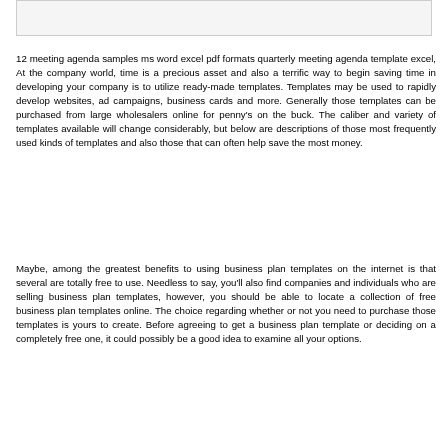[Figure (other): Partial image or banner at top of page]
12 meeting agenda samples ms word excel pdf formats quarterly meeting agenda template excel, At the company world, time is a precious asset and also a terrific way to begin saving time in developing your company is to utilize ready-made templates. Templates may be used to rapidly develop websites, ad campaigns, business cards and more. Generally those templates can be purchased from large wholesalers online for penny's on the buck. The caliber and variety of templates available will change considerably, but below are descriptions of those most frequently used kinds of templates and also those that can often help save the most money.
Maybe, among the greatest benefits to using business plan templates on the internet is that several are totally free to use. Needless to say, you'll also find companies and individuals who are selling business plan templates, however, you should be able to locate a collection of free business plan templates online. The choice regarding whether or not you need to purchase those templates is yours to create. Before agreeing to get a business plan template or deciding on a completely free one, it could possibly be a good idea to examine all your options.